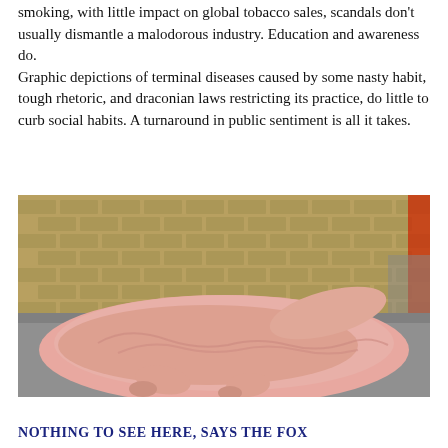smoking, with little impact on global tobacco sales, scandals don’t usually dismantle a malodorous industry. Education and awareness do. Graphic depictions of terminal diseases caused by some nasty habit, tough rhetoric, and draconian laws restricting its practice, do little to curb social habits. A turnaround in public sentiment is all it takes.
[Figure (photo): A large, pale pink fleshy sculpture or figure lying flat on a sidewalk against a brick wall, resembling an oversized human-like body splayed on the pavement.]
NOTHING TO SEE HERE, SAYS THE FOX